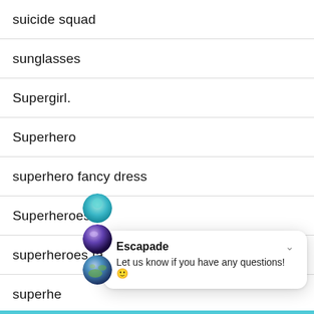suicide squad
sunglasses
Supergirl.
Superhero
superhero fancy dress
Superheroes
superheroes fancy dress
superhe…
Superm…De…
[Figure (screenshot): Chat popup widget from Escapade with message: Let us know if you have any questions! and three avatar icons stacked on the left.]